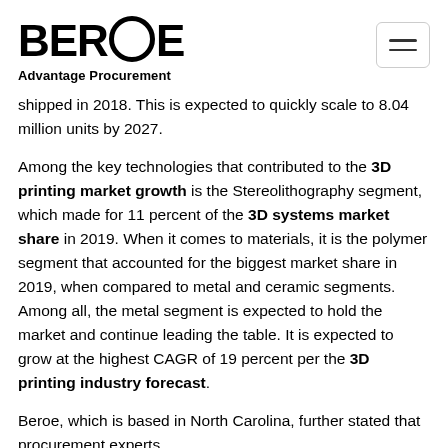BEROE — Advantage Procurement
shipped in 2018. This is expected to quickly scale to 8.04 million units by 2027.
Among the key technologies that contributed to the 3D printing market growth is the Stereolithography segment, which made for 11 percent of the 3D systems market share in 2019. When it comes to materials, it is the polymer segment that accounted for the biggest market share in 2019, when compared to metal and ceramic segments. Among all, the metal segment is expected to hold the market and continue leading the table. It is expected to grow at the highest CAGR of 19 percent per the 3D printing industry forecast.
Beroe, which is based in North Carolina, further stated that procurement experts